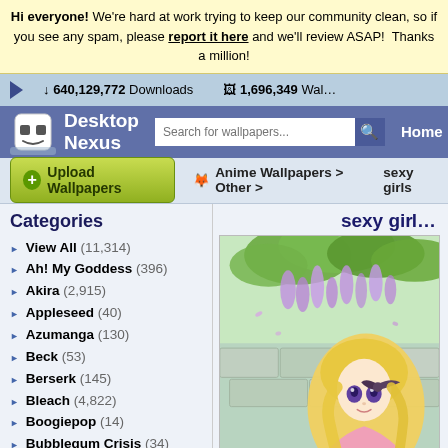Hi everyone! We're hard at work trying to keep our community clean, so if you see any spam, please report it here and we'll review ASAP! Thanks a million!
↓ 640,129,772 Downloads   1,696,349 Wal...
Desktop Nexus — Search for wallpapers... — Home
Upload Wallpapers
Anime Wallpapers > Other > sexy girls
Categories
View All (11,314)
Ah! My Goddess (396)
Akira (2,915)
Appleseed (40)
Azumanga (130)
Beck (53)
Berserk (145)
Bleach (4,822)
Boogiepop (14)
Bubblegum Crisis (34)
Burst Angel (103)
Card Captor Sakura (736)
Chobits (406)
Chrono Crusade (61)
sexy gir...
[Figure (illustration): Anime girl with blonde hair and a dark bow, surrounded by purple wisteria flowers and green foliage, wearing pink clothing, illustrated style]